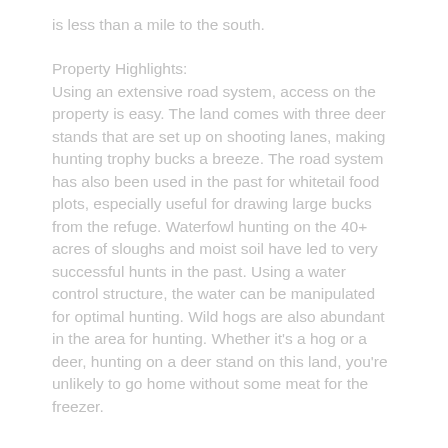is less than a mile to the south.
Property Highlights:
Using an extensive road system, access on the property is easy. The land comes with three deer stands that are set up on shooting lanes, making hunting trophy bucks a breeze. The road system has also been used in the past for whitetail food plots, especially useful for drawing large bucks from the refuge. Waterfowl hunting on the 40+ acres of sloughs and moist soil have led to very successful hunts in the past. Using a water control structure, the water can be manipulated for optimal hunting. Wild hogs are also abundant in the area for hunting. Whether it's a hog or a deer, hunting on a deer stand on this land, you're unlikely to go home without some meat for the freezer.